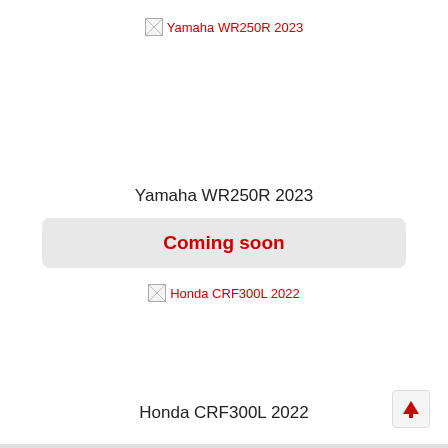[Figure (photo): Broken image placeholder for Yamaha WR250R 2023]
Yamaha WR250R 2023
Coming soon
[Figure (photo): Broken image placeholder for Honda CRF300L 2022]
Honda CRF300L 2022